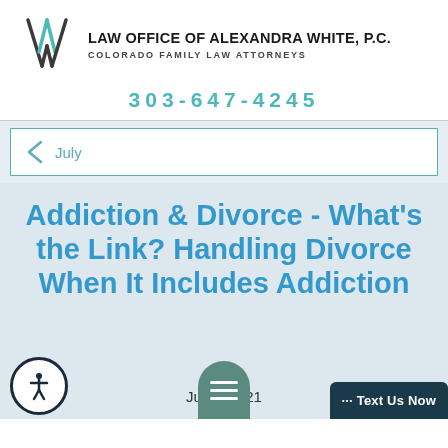[Figure (logo): Law Office of Alexandra White PC logo - stylized AW monogram in teal/dark ink]
LAW OFFICE OF ALEXANDRA WHITE, P.C. COLORADO FAMILY LAW ATTORNEYS
303-647-4245
< July
Addiction & Divorce - What's the Link? Handling Divorce When It Includes Addiction
July 2021